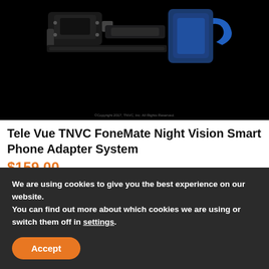[Figure (photo): Product photo of Tele Vue TNVC FoneMate Night Vision Smart Phone Adapter System on black background, showing mounted device hardware]
Tele Vue TNVC FoneMate Night Vision Smart Phone Adapter System
$159.00
[Figure (screenshot): Dark video thumbnail with a logo in the top right corner showing a crosshair/scope icon with text 'NIGHT OPTICS']
We are using cookies to give you the best experience on our website.
You can find out more about which cookies we are using or switch them off in settings.
Accept